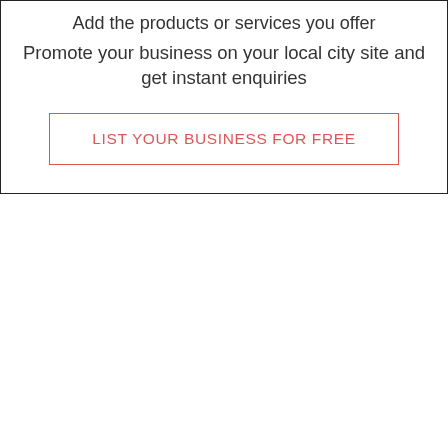Add the products or services you offer
Promote your business on your local city site and get instant enquiries
LIST YOUR BUSINESS FOR FREE